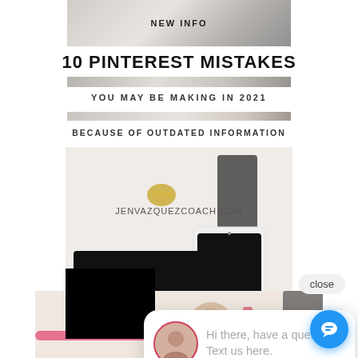[Figure (screenshot): Screenshot of a Pinterest blog post page showing text '10 PINTEREST MISTAKES YOU MAY BE MAKING IN 2021 BECAUSE OF OUTDATED INFORMATION' with decorative image strips. A chat popup from jenvazquezcoach.com reads 'Hi there, have a question? Text us here.' with an avatar, close button, and blue chat icon.]
10 PINTEREST MISTAKES
YOU MAY BE MAKING IN 2021
BECAUSE OF OUTDATED INFORMATION
JENVAZQUEZCOACH.COM
close
Hi there, have a question? Text us here.